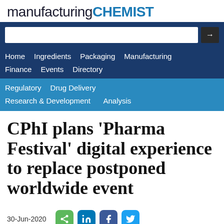manufacturing CHEMIST
[Figure (screenshot): Navigation bar with search box, main nav links (Home, Ingredients, Packaging, Manufacturing, Finance, Events, Directory), and sub-nav links (Regulatory, Drug Delivery, Research & Development, Analysis)]
CPhI plans 'Pharma Festival' digital experience to replace postponed worldwide event
30-Jun-2020